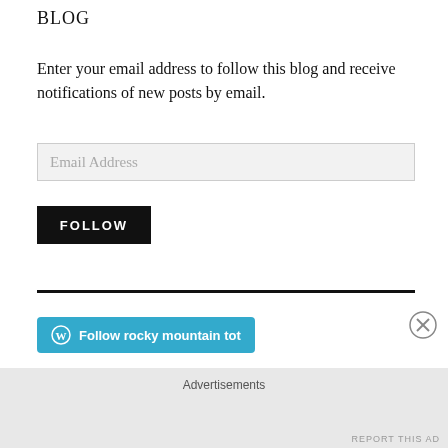BLOG
Enter your email address to follow this blog and receive notifications of new posts by email.
Email Address
FOLLOW
[Figure (other): Follow rocky mountain tot WordPress follow button with WordPress logo icon in blue]
Advertisements
REPORT THIS AD